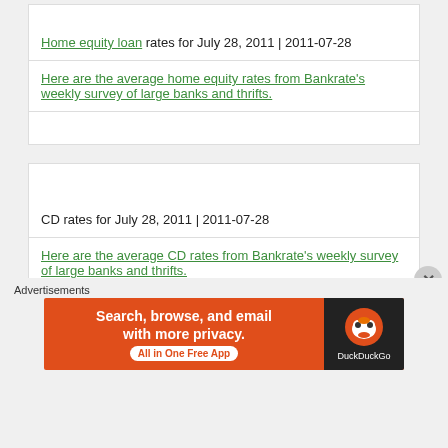Home equity loan rates for July 28, 2011 | 2011-07-28
Here are the average home equity rates from Bankrate's weekly survey of large banks and thrifts.
CD rates for July 28, 2011 | 2011-07-28
Here are the average CD rates from Bankrate's weekly survey of large banks and thrifts.
Advertisements
[Figure (other): DuckDuckGo advertisement banner: Search, browse, and email with more privacy. All in One Free App.]